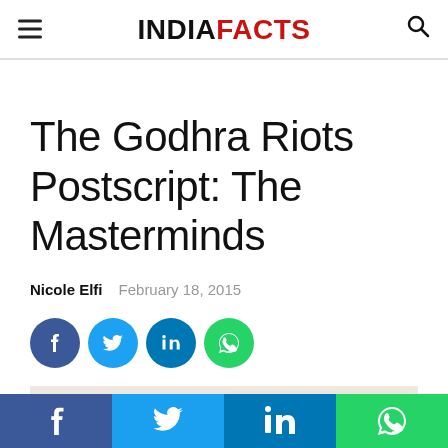INDIAFACTS
The Godhra Riots Postscript: The Masterminds
Nicole Elfi   February 18, 2015
[Figure (infographic): Social share buttons: Facebook (blue circle), Twitter (light blue circle), LinkedIn (dark blue circle), WhatsApp (green circle)]
[Figure (photo): Partial article image, lightly blurred, appears to show some objects on a light background]
f   (bird)   in   (phone/WhatsApp icon)